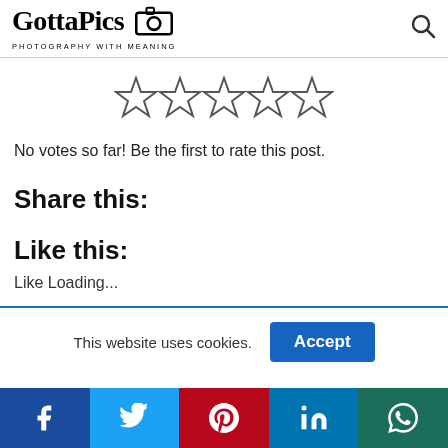GottaPics PHOTOGRAPHY WITH MEANING
[Figure (other): Five empty star rating icons in a row]
No votes so far! Be the first to rate this post.
Share this:
Like this:
Like Loading...
This website uses cookies.
[Figure (other): Social share bar with Facebook, Twitter, Pinterest, LinkedIn, WhatsApp buttons]